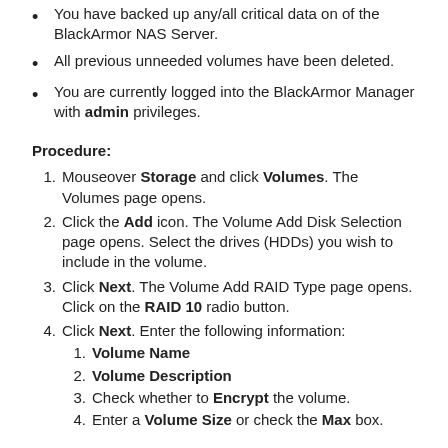You have backed up any/all critical data on of the BlackArmor NAS Server.
All previous unneeded volumes have been deleted.
You are currently logged into the BlackArmor Manager with admin privileges.
Procedure:
Mouseover Storage and click Volumes. The Volumes page opens.
Click the Add icon. The Volume Add Disk Selection page opens. Select the drives (HDDs) you wish to include in the volume.
Click Next. The Volume Add RAID Type page opens. Click on the RAID 10 radio button.
Click Next. Enter the following information:
Volume Name
Volume Description
Check whether to Encrypt the volume.
Enter a Volume Size or check the Max box.